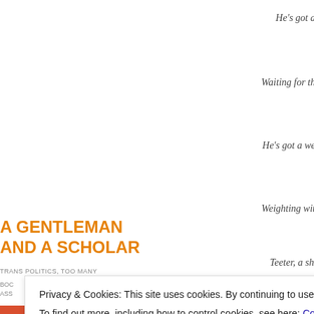He's got a
Waiting for th
He's got a we
Weighting wit
A GENTLEMAN
AND A SCHOLAR
TRANS POLITICS, TOO MANY
Teeter, a sh
A noticeable
ve s
Privacy & Cookies: This site uses cookies. By continuing to use this website, you agree to their use.
To find out more, including how to control cookies, see here: Cookie Policy
Close and accept